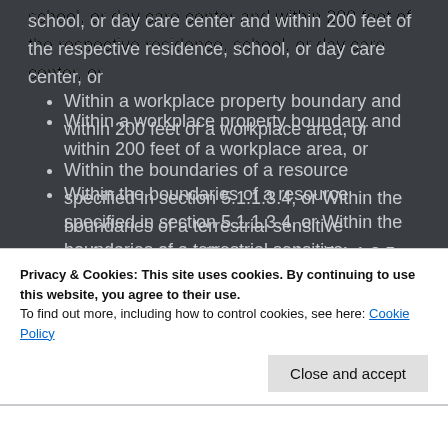school, or day care center and within 200 feet of the respective residence, school, or day care center, or
Within a workplace property boundary and within 200 feet of a workplace area, or
Within the boundaries of a resource specified in section 5.1.1.3.4, or Within the boundaries of a terrestrial sensitive environment specified in section 5.1.1.3.5.
Privacy & Cookies: This site uses cookies. By continuing to use this website, you agree to their use.
To find out more, including how to control cookies, see here: Cookie Policy